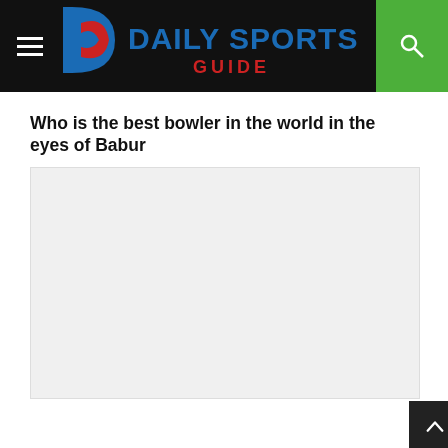Daily Sports Guide
Who is the best bowler in the world in the eyes of Babur
[Figure (photo): A large light-grey placeholder image area representing an article image]
'Children of freedom fighters must work against anti-national conspiracies'